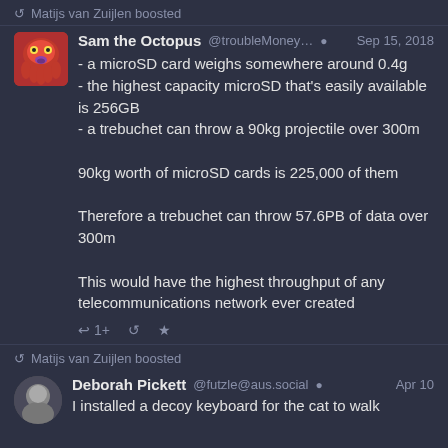Matijs van Zuijlen boosted
Sam the Octopus @troubleMoney… Sep 15, 2018
- a microSD card weighs somewhere around 0.4g
- the highest capacity microSD that's easily available is 256GB
- a trebuchet can throw a 90kg projectile over 300m

90kg worth of microSD cards is 225,000 of them

Therefore a trebuchet can throw 57.6PB of data over 300m

This would have the highest throughput of any telecommunications network ever created
Matijs van Zuijlen boosted
Deborah Pickett @futzle@aus.social Apr 10
I installed a decoy keyboard for the cat to walk